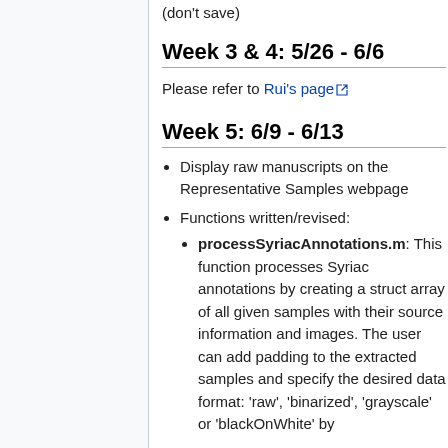(don't save)
Week 3 & 4: 5/26 - 6/6
Please refer to Rui's page
Week 5: 6/9 - 6/13
Display raw manuscripts on the Representative Samples webpage
Functions written/revised:
processSyriacAnnotations.m: This function processes Syriac annotations by creating a struct array of all given samples with their source information and images. The user can add padding to the extracted samples and specify the desired data format: 'raw', 'binarized', 'grayscale' or 'blackOnWhite' by